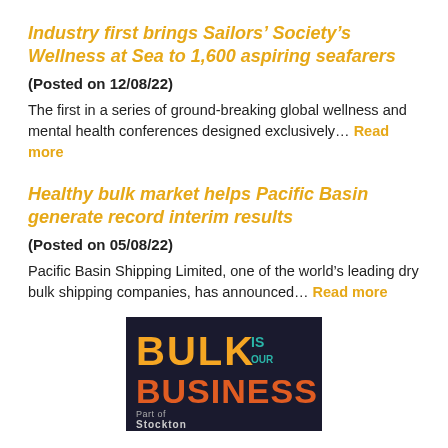Industry first brings Sailors’ Society’s Wellness at Sea to 1,600 aspiring seafarers
(Posted on 12/08/22)
The first in a series of ground-breaking global wellness and mental health conferences designed exclusively… Read more
Healthy bulk market helps Pacific Basin generate record interim results
(Posted on 05/08/22)
Pacific Basin Shipping Limited, one of the world’s leading dry bulk shipping companies, has announced… Read more
[Figure (logo): BULK IS OUR BUSINESS banner with dark background, orange and teal text, Part of Stockton label at bottom]